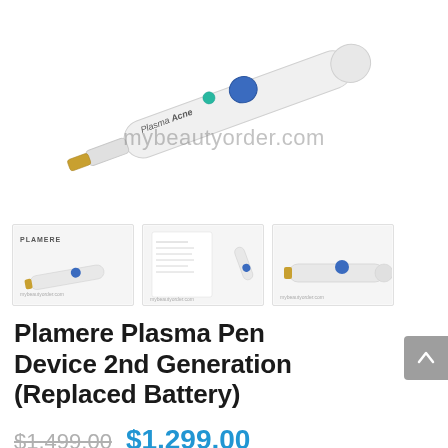[Figure (photo): Main product image of a white Plamere Plasma Pen device with blue button and gold tip, labeled 'Plasma Acne', with watermark mybeautyorder.com]
[Figure (photo): Three product thumbnail images showing the Plamere Plasma Pen device from different angles, with Plamere branding and instructions, watermarked mybeautyorder.com]
Plamere Plasma Pen Device 2nd Generation (Replaced Battery)
$1,499.00  $1,299.00
Plamere Plasma Pen Device 2nd Generation (Replaced Battery)